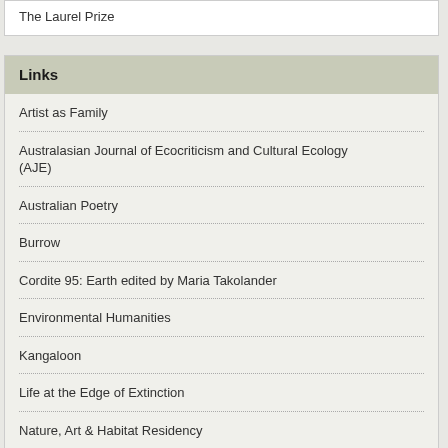The Laurel Prize
Links
Artist as Family
Australasian Journal of Ecocriticism and Cultural Ecology (AJE)
Australian Poetry
Burrow
Cordite 95: Earth edited by Maria Takolander
Environmental Humanities
Kangaloon
Life at the Edge of Extinction
Nature, Art & Habitat Residency
New Shoot